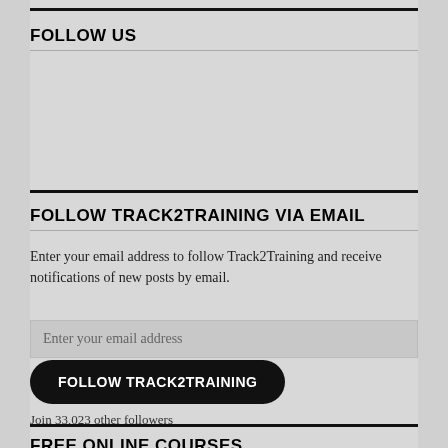FOLLOW US
FOLLOW TRACK2TRAINING VIA EMAIL
Enter your email address to follow Track2Training and receive notifications of new posts by email.
Enter your email address
FOLLOW TRACK2TRAINING
Join 33,023 other followers
FREE ONLINE COURSES